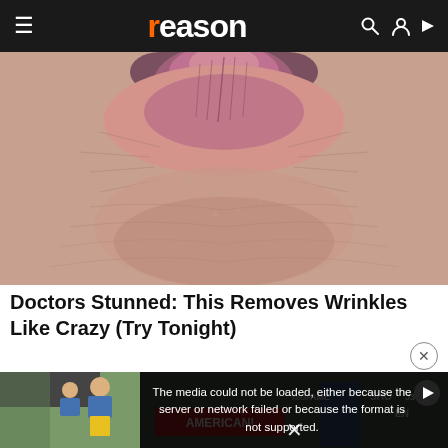reason (logo with orange r)
[Figure (photo): Close-up macro photograph of elderly wrinkled lips and surrounding skin, pinkish-red tones]
Doctors Stunned: This Removes Wrinkles Like Crazy (Try Tonight)
[Figure (screenshot): Video player error overlay reading: The media could not be loaded, either because the server or network failed or because the format is not supported. With a play button and X dismiss icon. Below is a partial photo of people in blue and yellow uniforms near a car trunk, and protest signs reading AMERICAN!]